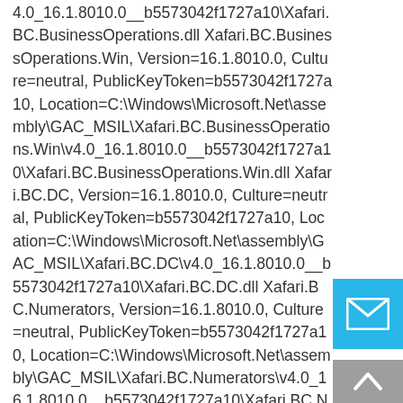4.0_16.1.8010.0__b5573042f1727a10\Xafari.BC.BusinessOperations.dll Xafari.BC.BusinessOperations.Win, Version=16.1.8010.0, Culture=neutral, PublicKeyToken=b5573042f1727a10, Location=C:\Windows\Microsoft.Net\assembly\GAC_MSIL\Xafari.BC.BusinessOperations.Win\v4.0_16.1.8010.0__b5573042f1727a10\Xafari.BC.BusinessOperations.Win.dll Xafari.BC.DC, Version=16.1.8010.0, Culture=neutral, PublicKeyToken=b5573042f1727a10, Location=C:\Windows\Microsoft.Net\assembly\GAC_MSIL\Xafari.BC.DC\v4.0_16.1.8010.0__b5573042f1727a10\Xafari.BC.DC.dll Xafari.BC.Numerators, Version=16.1.8010.0, Culture=neutral, PublicKeyToken=b5573042f1727a10, Location=C:\Windows\Microsoft.Net\assembly\GAC_MSIL\Xafari.BC.Numerators\v4.0_16.1.8010.0__b5573042f1727a10\Xafari.BC.Numerators.dll
[Figure (illustration): Blue email/envelope button icon]
[Figure (illustration): Grey scroll-to-top arrow button]